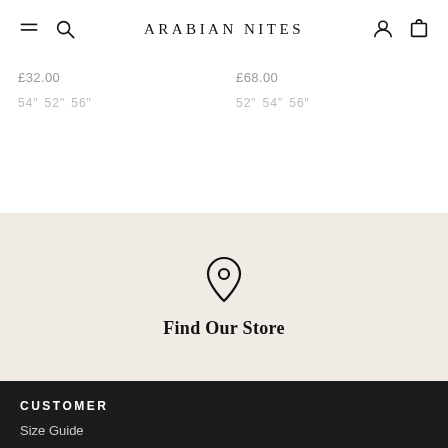ARABIAN NITES
£32.00
54" 52" 56"
£68.00
52" 54" 56"
[Figure (illustration): Location pin / map marker icon]
Find Our Store
CUSTOMER
Size Guide